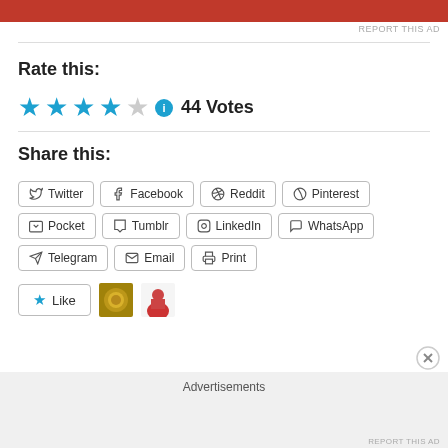[Figure (other): Red advertisement banner at top]
REPORT THIS AD
Rate this:
[Figure (other): 3.5 out of 5 stars rating with info icon and 44 Votes]
Share this:
Twitter
Facebook
Reddit
Pinterest
Pocket
Tumblr
LinkedIn
WhatsApp
Telegram
Email
Print
[Figure (other): Like button with star icon and two user avatar thumbnails]
Advertisements
REPORT THIS AD